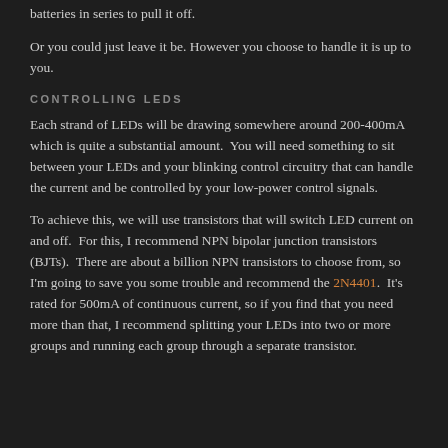batteries in series to pull it off.
Or you could just leave it be. However you choose to handle it is up to you.
CONTROLLING LEDS
Each strand of LEDs will be drawing somewhere around 200-400mA which is quite a substantial amount. You will need something to sit between your LEDs and your blinking control circuitry that can handle the current and be controlled by your low-power control signals.
To achieve this, we will use transistors that will switch LED current on and off. For this, I recommend NPN bipolar junction transistors (BJTs). There are about a billion NPN transistors to choose from, so I'm going to save you some trouble and recommend the 2N4401. It's rated for 500mA of continuous current, so if you find that you need more than that, I recommend splitting your LEDs into two or more groups and running each group through a separate transistor.